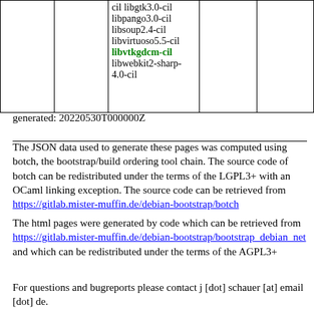|  |  | cil libgtk3.0-cil libpango3.0-cil libsoup2.4-cil libvirtuoso5.5-cil libvtkgdcm-cil libwebkit2-sharp-4.0-cil |  |  |
generated: 20220530T000000Z
The JSON data used to generate these pages was computed using botch, the bootstrap/build ordering tool chain. The source code of botch can be redistributed under the terms of the LGPL3+ with an OCaml linking exception. The source code can be retrieved from https://gitlab.mister-muffin.de/debian-bootstrap/botch
The html pages were generated by code which can be retrieved from https://gitlab.mister-muffin.de/debian-bootstrap/bootstrap_debian_net and which can be redistributed under the terms of the AGPL3+
For questions and bugreports please contact j [dot] schauer [at] email [dot] de.